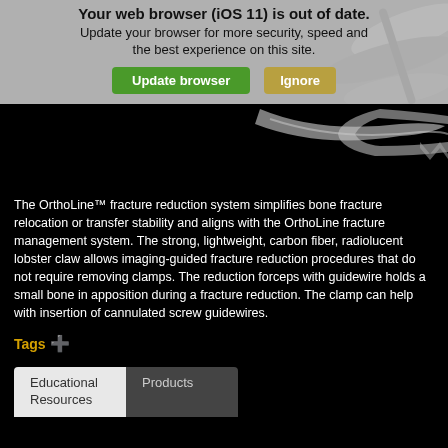Your web browser (iOS 11) is out of date. Update your browser for more security, speed and the best experience on this site.
[Figure (screenshot): Browser update warning banner with 'Update browser' green button and 'Ignore' tan/gold button on gray background]
[Figure (photo): Medical surgical instrument (lobster claw/reduction forceps) on black background]
The OrthoLine™ fracture reduction system simplifies bone fracture relocation or transfer stability and aligns with the OrthoLine fracture management system. The strong, lightweight, carbon fiber, radiolucent lobster claw allows imaging-guided fracture reduction procedures that do not require removing clamps. The reduction forceps with guidewire holds a small bone in apposition during a fracture reduction. The clamp can help with insertion of cannulated screw guidewires.
Tags ⊕
Educational Resources	Products